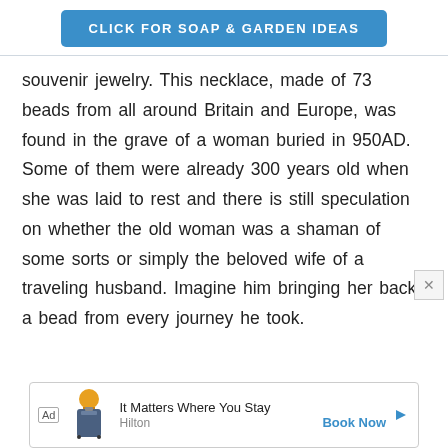CLICK FOR SOAP & GARDEN IDEAS
souvenir jewelry. This necklace, made of 73 beads from all around Britain and Europe, was found in the grave of a woman buried in 950AD. Some of them were already 300 years old when she was laid to rest and there is still speculation on whether the old woman was a shaman of some sorts or simply the beloved wife of a traveling husband. Imagine him bringing her back a bead from every journey he took.
[Figure (other): Advertisement banner: Hilton hotel ad with luggage icon. Text: 'It Matters Where You Stay', 'Hilton', 'Book Now']